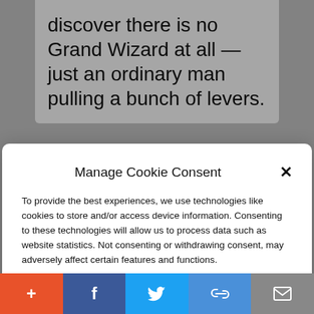discover there is no Grand Wizard at all — just an ordinary man pulling a bunch of levers.
Manage Cookie Consent
To provide the best experiences, we use technologies like cookies to store and/or access device information. Consenting to these technologies will allow us to process data such as website statistics. Not consenting or withdrawing consent, may adversely affect certain features and functions.
Accept
Cookie Policy  Privacy Policy
With bated breath, Swamp-dwellers, the